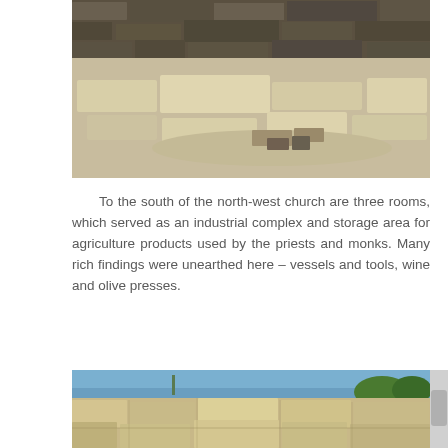[Figure (photo): Archaeological site showing large limestone blocks and ruins scattered on sandy ground with a stone wall in the background, outdoor daylight setting.]
To the south of the north-west church are three rooms, which served as an industrial complex and storage area for agriculture products used by the priests and monks. Many rich findings were unearthed here – vessels and tools, wine and olive presses.
[Figure (photo): Archaeological ruins showing large ancient stone blocks forming walls, with blue sky and green trees in the background.]